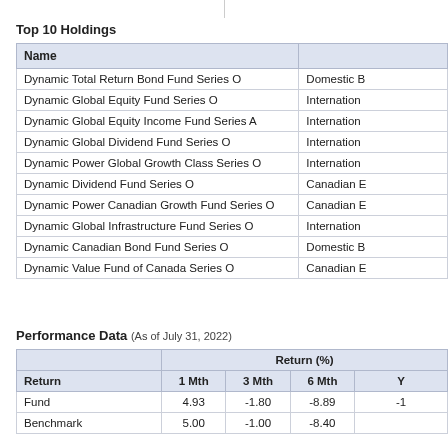Top 10 Holdings
| Name |  |
| --- | --- |
| Dynamic Total Return Bond Fund Series O | Domestic B |
| Dynamic Global Equity Fund Series O | Internation |
| Dynamic Global Equity Income Fund Series A | Internation |
| Dynamic Global Dividend Fund Series O | Internation |
| Dynamic Power Global Growth Class Series O | Internation |
| Dynamic Dividend Fund Series O | Canadian E |
| Dynamic Power Canadian Growth Fund Series O | Canadian E |
| Dynamic Global Infrastructure Fund Series O | Internation |
| Dynamic Canadian Bond Fund Series O | Domestic B |
| Dynamic Value Fund of Canada Series O | Canadian E |
Performance Data (As of July 31, 2022)
| Return | Return (%) |  |  |  |
| --- | --- | --- | --- | --- |
|  | 1 Mth | 3 Mth | 6 Mth | Y |
| Fund | 4.93 | -1.80 | -8.89 | -1 |
| Benchmark | 5.00 | -1.00 | -8.40 |  |